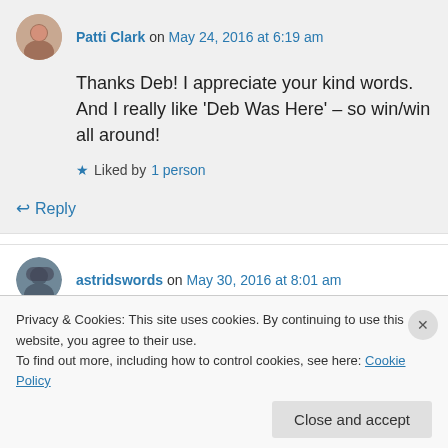Patti Clark on May 24, 2016 at 6:19 am
Thanks Deb! I appreciate your kind words. And I really like ‘Deb Was Here’ – so win/win all around!
Liked by 1 person
Reply
astridswords on May 30, 2016 at 8:01 am
Patti, I would like to invite you to join me for a
Privacy & Cookies: This site uses cookies. By continuing to use this website, you agree to their use.
To find out more, including how to control cookies, see here: Cookie Policy
Close and accept